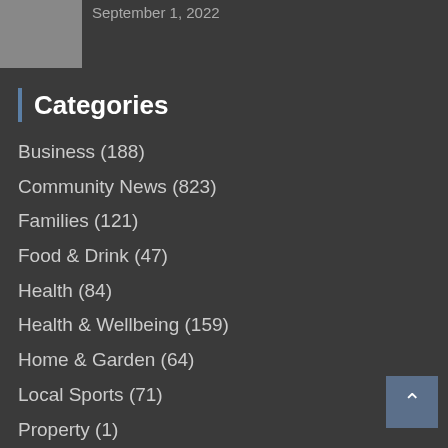[Figure (photo): Gray thumbnail image placeholder]
September 1, 2022
Categories
Business (188)
Community News (823)
Families (121)
Food & Drink (47)
Health (84)
Health & Wellbeing (159)
Home & Garden (64)
Local Sports (71)
Property (1)
Top Stories (27)
Uncategorized (1)
Win (4)